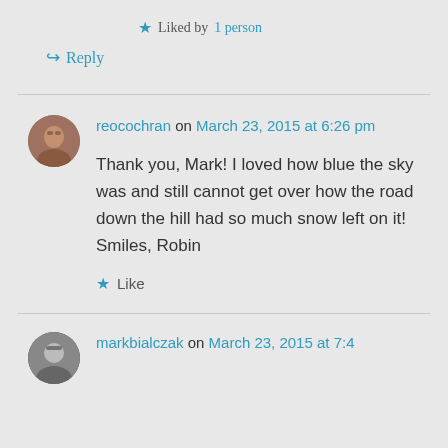★ Liked by 1 person
↪ Reply
reocochran on March 23, 2015 at 6:26 pm
Thank you, Mark! I loved how blue the sky was and still cannot get over how the road down the hill had so much snow left on it! Smiles, Robin
★ Like
markbialczak on March 23, 2015 at 7:42 pm